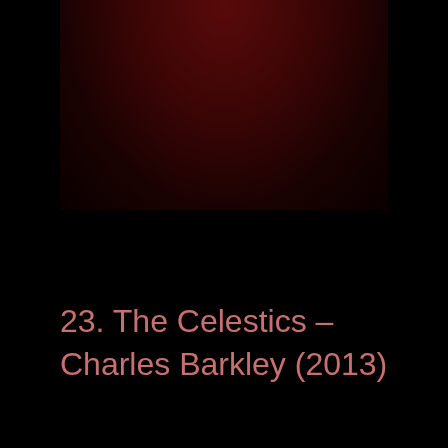[Figure (photo): Dark reddish-brown image block at the top of the page, appearing as a darkened photo or illustration with deep red tones fading to black.]
23. The Celestics – Charles Barkley (2013)